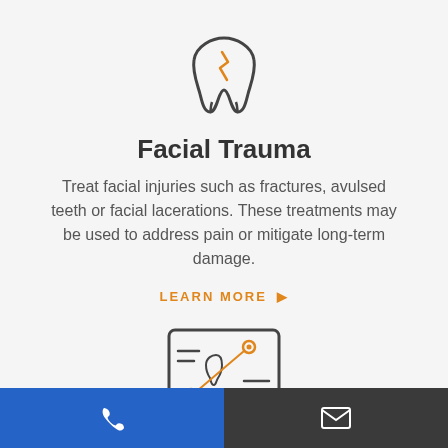[Figure (illustration): Tooth icon with orange crack/damage mark on dark gray outline, representing dental/facial trauma]
Facial Trauma
Treat facial injuries such as fractures, avulsed teeth or facial lacerations. These treatments may be used to address pain or mitigate long-term damage.
LEARN MORE ▶
[Figure (illustration): Dental treatment plan icon: a framed certificate/card showing a tooth with orange connecting dots and lines, representing a dental treatment plan]
Phone icon (left, blue background) | Email icon (right, dark background)